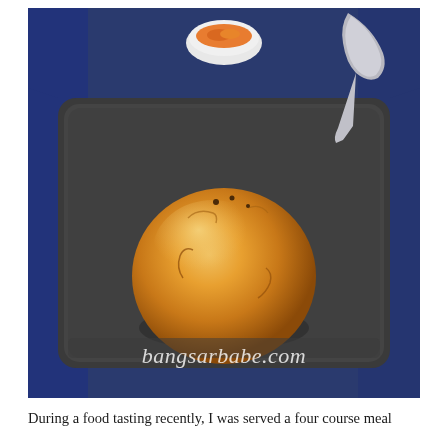[Figure (photo): A golden-brown baked bread roll sitting on a dark square tray/plate, placed on a blue tablecloth. In the background there is a small white bowl with orange contents and a silver spoon. A watermark reading 'bangsarbabe.com' appears in italic white text at the bottom of the image.]
During a food tasting recently, I was served a four course meal